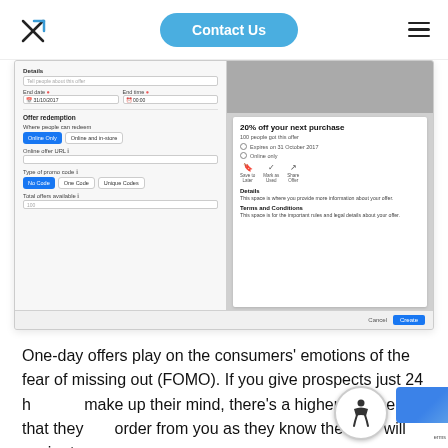Contact Us
[Figure (screenshot): A screenshot of a Facebook Offer creation interface showing form fields including Details, End date (31/10/2017), End time (00:00), Offer redemption section with Online Only / Online and in-store buttons, Online offer URL, Type of promo code (No Code, One Code, Unique Codes), Total offers available (100), and a preview panel showing '20% off your next purchase' offer card with expiry date and options.]
One-day offers play on the consumers' emotions of the fear of missing out (FOMO). If you give prospects just 24 hours to make up their mind, there's a higher chance that they will order from you as they know the offer will expire tomorrow.